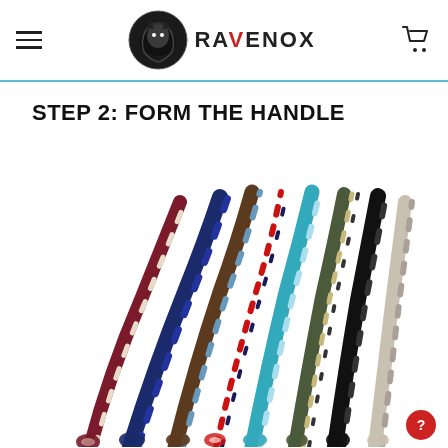RAVENOX
STEP 2: FORM THE HANDLE
[Figure (photo): Multiple colorful twisted cotton ropes fanned out, showing various color combinations including burgundy/cream, navy blue, brown/blue, white/red/navy, teal/blue, camo/green, black, and natural/grey, displayed as rope handles.]